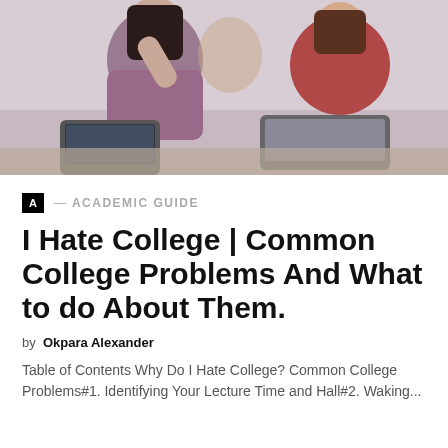[Figure (photo): Students sitting in a college classroom with laptops, one student with hand on head looking stressed]
A — ACADEMIC GUIDE
I Hate College | Common College Problems And What to do About Them.
by Okpara Alexander
Table of Contents Why Do I Hate College? Common College Problems#1. Identifying Your Lecture Time and Hall#2. Waking...